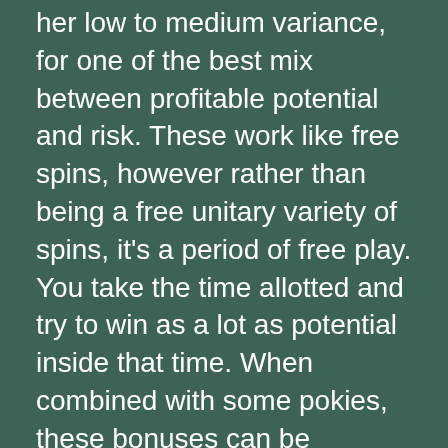her low to medium variance, for one of the best mix between profitable potential and risk. These work like free spins, however rather than being a free unitary variety of spins, it's a period of free play. You take the time allotted and try to win as a lot as potential inside that time. When combined with some pokies, these bonuses can be significantly potent. Perhaps much more importantly, you wish to discover a web site that has a variety of high quality games.
The game collects bets made by all players on all platforms, and the player who wins will get it